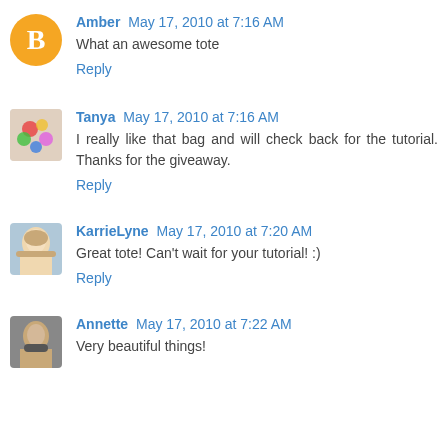Amber May 17, 2010 at 7:16 AM
What an awesome tote
Reply
Tanya May 17, 2010 at 7:16 AM
I really like that bag and will check back for the tutorial. Thanks for the giveaway.
Reply
KarrieLyne May 17, 2010 at 7:20 AM
Great tote! Can't wait for your tutorial! :)
Reply
Annette May 17, 2010 at 7:22 AM
Very beautiful things!